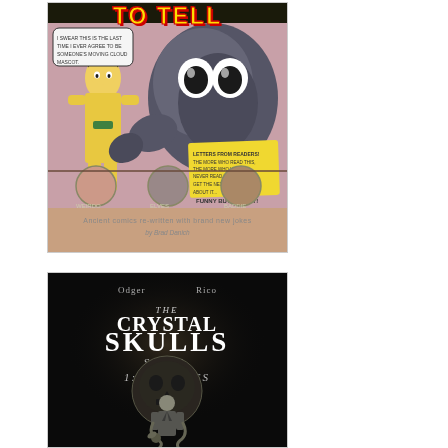[Figure (illustration): Comic book cover showing a large dark monster creature facing a hero in yellow and green costume. Bottom has circular portrait medallions of characters. Title area reads 'TO TELL' in yellow letters. Bottom text: 'Ancient comics re-written with brand new jokes by Brad Danich']
[Figure (illustration): Dark book cover for 'The Crystal Skulls Saga 1: Flawless' by Odger and Rico. Shows a skull orb with a suited figure holding a snake below. Dark gothic aesthetic.]